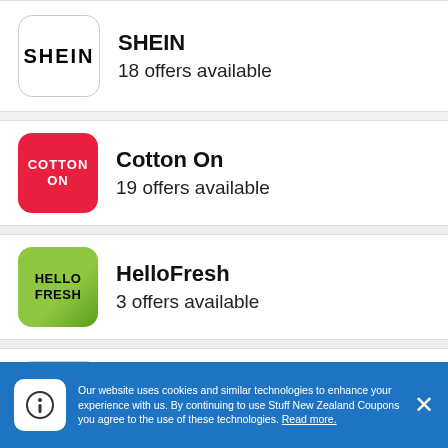SHEIN — 18 offers available
Cotton On — 19 offers available
HelloFresh — 3 offers available
Spotlight — 23 offers available
Our website uses cookies and similar technologies to enhance your experience with us. By continuing to use Stuff New Zealand Coupons you agree to the use of these technologies. Read more.